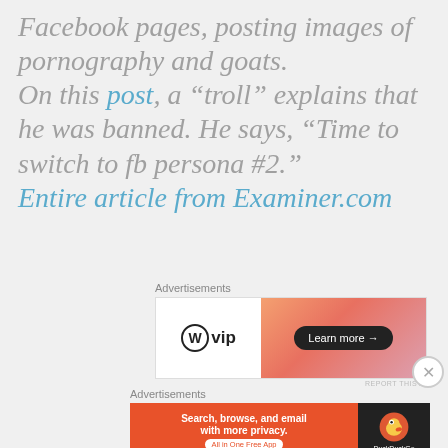Facebook pages, posting images of pornography and goats. On this post, a “troll” explains that he was banned. He says, “Time to switch to fb persona #2.” Entire article from Examiner.com
[Figure (other): WordPress VIP advertisement banner with orange gradient and Learn more button]
[Figure (other): DuckDuckGo advertisement banner: Search, browse, and email with more privacy. All in One Free App]